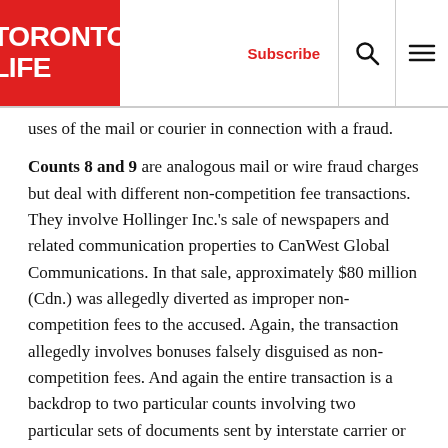TORONTO LIFE | Subscribe
uses of the mail or courier in connection with a fraud.
Counts 8 and 9 are analogous mail or wire fraud charges but deal with different non-competition fee transactions. They involve Hollinger Inc.'s sale of newspapers and related communication properties to CanWest Global Communications. In that sale, approximately $80 million (Cdn.) was allegedly diverted as improper non-competition fees to the accused. Again, the transaction allegedly involves bonuses falsely disguised as non-competition fees. And again the entire transaction is a backdrop to two particular counts involving two particular sets of documents sent by interstate carrier or transmission.
Counts 10, 11 and 12 have been referred to as the